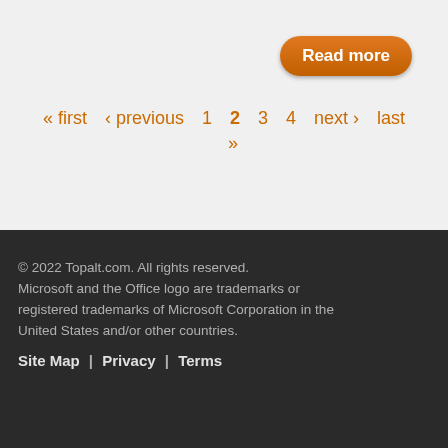Read more
« first  ‹ previous  1  2  3  4  next ›  last »
© 2022 Topalt.com. All rights reserved. Microsoft and the Office logo are trademarks or registered trademarks of Microsoft Corporation in the United States and/or other countries.
Site Map | Privacy | Terms